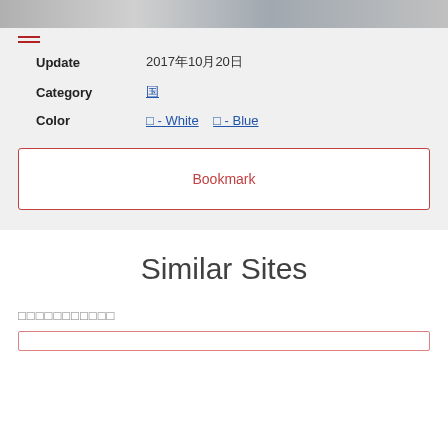[Figure (photo): Cropped image strip at top of page showing partial photograph]
Update   2017年10月20日
Category   国
Color   □ - White   □ - Blue
Bookmark
Similar Sites
□□□□□□□□□□□